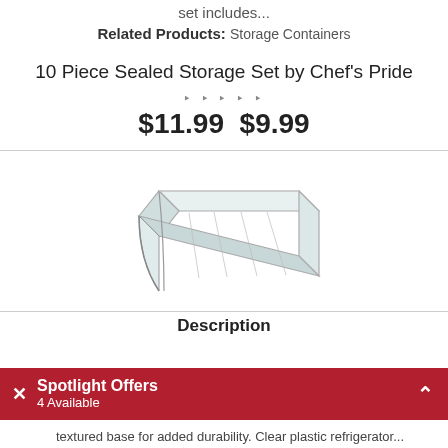set includes...
Related Products: Storage Containers
10 Piece Sealed Storage Set by Chef's Pride
$11.99 $9.99
[Figure (photo): A clear plastic open-top rectangular storage bin/organizer with a curved front cutout, shown in product photo on white background.]
Description
Spotlight Offers
4 Available
textured base for added durability. Clear plastic refrigerator...